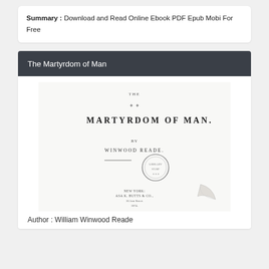Summary : Download and Read Online Ebook PDF Epub Mobi For Free
The Martyrdom of Man
[Figure (illustration): Scanned title page of 'The Martyrdom of Man' by Winwood Reade, published by Asa K. Butts & Co., with a circular library stamp and a curled page corner graphic.]
Author : William Winwood Reade